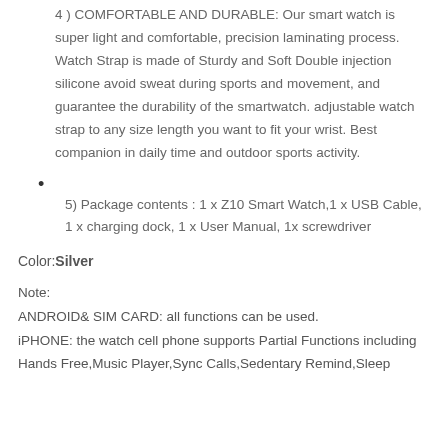4 ) COMFORTABLE AND DURABLE: Our smart watch is super light and comfortable, precision laminating process. Watch Strap is made of Sturdy and Soft Double injection silicone avoid sweat during sports and movement, and guarantee the durability of the smartwatch. adjustable watch strap to any size length you want to fit your wrist. Best companion in daily time and outdoor sports activity.
5) Package contents : 1 x Z10 Smart Watch,1 x USB Cable, 1 x charging dock, 1 x User Manual, 1x screwdriver
Color:Silver
Note:
ANDROID& SIM CARD: all functions can be used.
iPHONE: the watch cell phone supports Partial Functions including Hands Free,Music Player,Sync Calls,Sedentary Remind,Sleep